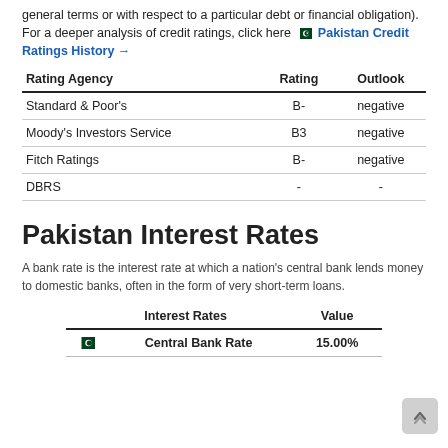general terms or with respect to a particular debt or financial obligation). For a deeper analysis of credit ratings, click here  Pakistan Credit Ratings History →
| Rating Agency | Rating | Outlook |
| --- | --- | --- |
| Standard & Poor's | B- | negative |
| Moody's Investors Service | B3 | negative |
| Fitch Ratings | B- | negative |
| DBRS | - | - |
Pakistan Interest Rates
A bank rate is the interest rate at which a nation's central bank lends money to domestic banks, often in the form of very short-term loans.
| Interest Rates | Value |
| --- | --- |
| Central Bank Rate | 15.00% |